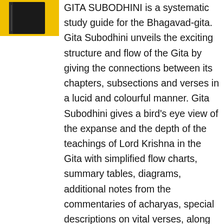[Figure (photo): Book cover of Gita Subodhini with yellow background and dark book spine visible]
GITA SUBODHINI is a systematic study guide for the Bhagavad-gita. Gita Subodhini unveils the exciting structure and flow of the Gita by giving the connections between its chapters, subsections and verses in a lucid and colourful manner. Gita Subodhini gives a bird's eye view of the expanse and the depth of the teachings of Lord Krishna in the Gita with simplified flow charts, summary tables, diagrams, additional notes from the commentaries of acharyas, special descriptions on vital verses, along with interesting thematic compilations and many other features. Gita Subodhini